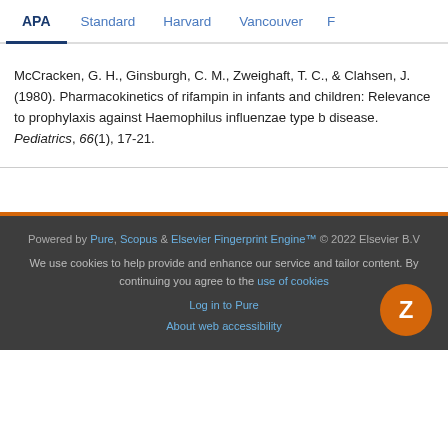APA | Standard | Harvard | Vancouver | F
McCracken, G. H., Ginsburgh, C. M., Zweighaft, T. C., & Clahsen, J. (1980). Pharmacokinetics of rifampin in infants and children: Relevance to prophylaxis against Haemophilus influenzae type b disease. Pediatrics, 66(1), 17-21.
Powered by Pure, Scopus & Elsevier Fingerprint Engine™ © 2022 Elsevier B.V
We use cookies to help provide and enhance our service and tailor content. By continuing you agree to the use of cookies
Log in to Pure
About web accessibility